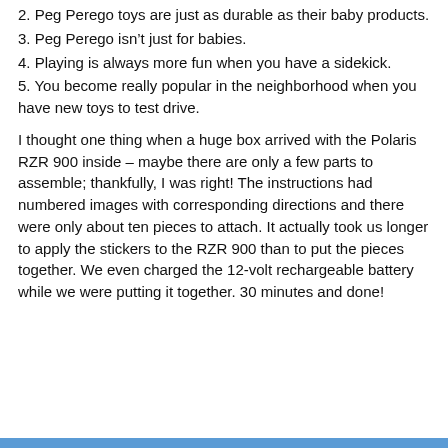2. Peg Perego toys are just as durable as their baby products.
3. Peg Perego isn’t just for babies.
4. Playing is always more fun when you have a sidekick.
5. You become really popular in the neighborhood when you have new toys to test drive.
I thought one thing when a huge box arrived with the Polaris RZR 900 inside – maybe there are only a few parts to assemble; thankfully, I was right! The instructions had numbered images with corresponding directions and there were only about ten pieces to attach. It actually took us longer to apply the stickers to the RZR 900 than to put the pieces together. We even charged the 12-volt rechargeable battery while we were putting it together. 30 minutes and done!